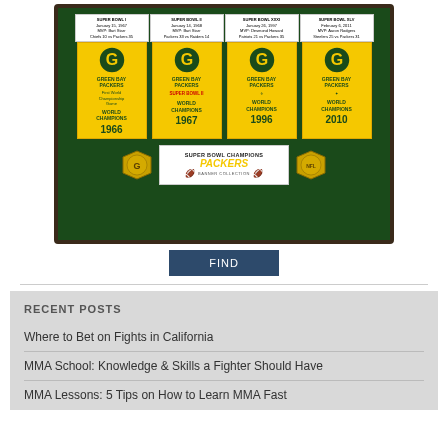[Figure (photo): Framed Green Bay Packers Super Bowl Champions Banner Collection with four championship banners (1966, 1967, 1996, 2010) on dark green background, two gold coins, and a center placard reading 'SUPER BOWL CHAMPIONS PACKERS BANNER COLLECTION']
FIND
RECENT POSTS
Where to Bet on Fights in California
MMA School: Knowledge & Skills a Fighter Should Have
MMA Lessons: 5 Tips on How to Learn MMA Fast